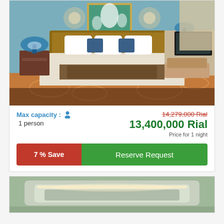[Figure (photo): Hotel room photo showing a large bed with white and brown bedding, blue lamps on nightstands, decorative painting on wall, patterned carpet, and seating area with TV in background]
Max capacity : 1 person
14,279,000 Rial (strikethrough) 13,400,000 Rial Price for 1 night
7 % Save   Reserve Request
[Figure (photo): Partial view of another hotel room showing ceiling with recessed lighting and green-tinted walls]